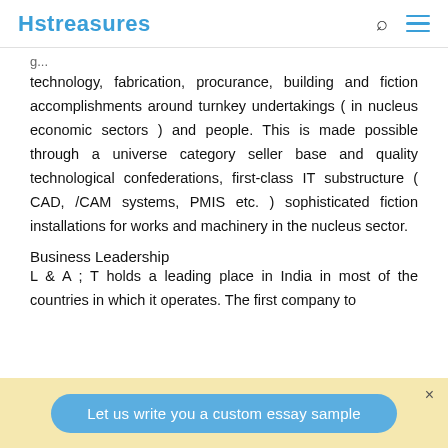Hstreasures
technology, fabrication, procurance, building and fiction accomplishments around turnkey undertakings ( in nucleus economic sectors ) and people. This is made possible through a universe category seller base and quality technological confederations, first-class IT substructure ( CAD, /CAM systems, PMIS etc. ) sophisticated fiction installations for works and machinery in the nucleus sector.
Business Leadership
L & A ; T holds a leading place in India in most of the countries in which it operates. The first company to
Let us write you a custom essay sample